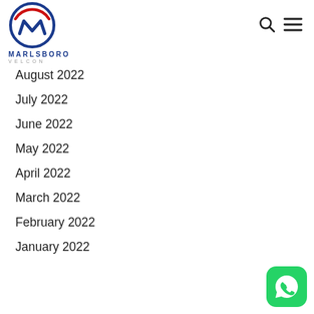[Figure (logo): Marlsboro Velcon logo with circular emblem in red and blue, company name MARLSBORO in blue bold letters, VELCON in grey spaced letters below]
August 2022
July 2022
June 2022
May 2022
April 2022
March 2022
February 2022
January 2022
[Figure (logo): WhatsApp green rounded square icon with white phone/speech bubble logo]